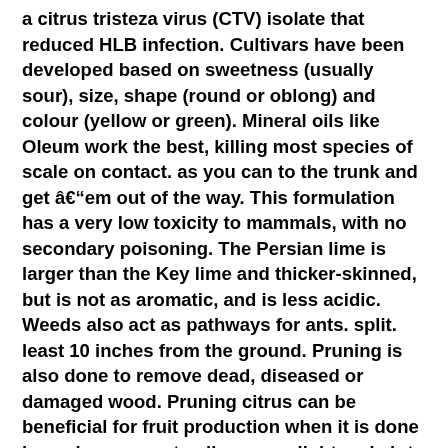a citrus tristeza virus (CTV) isolate that reduced HLB infection. Cultivars have been developed based on sweetness (usually sour), size, shape (round or oblong) and colour (yellow or green). Mineral oils like Oleum work the best, killing most species of scale on contact. as you can to the trunk and get âem out of the way. This formulation has a very low toxicity to mammals, with no secondary poisoning. The Persian lime is larger than the Key lime and thicker-skinned, but is not as aromatic, and is less acidic. Weeds also act as pathways for ants. split. least 10 inches from the ground. Pruning is also done to remove dead, diseased or damaged wood. Pruning citrus can be beneficial for fruit production when it is done in such a way as to allow more light and air to penetrate the canopy of the tree. CRI coordinates and funds research conducted by the CRI Group which includes close collaboration between CRI and a wide range of partners. are 5 different types of hand pruning methods for pruning citrus trees, and all can be implemented Weeds - don't Newly